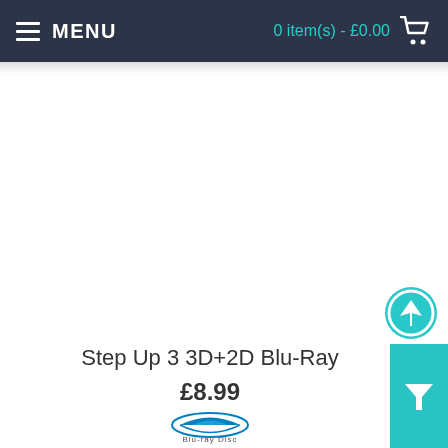MENU  |  0 item(s) - £0.00
Step Up 3 3D+2D Blu-Ray
£8.99
[Figure (logo): Blu-ray Disc logo]